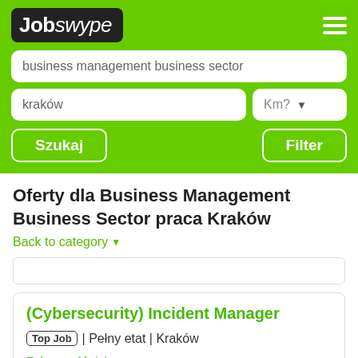[Figure (logo): Jobswype logo in black rounded rectangle with white text, on green background]
business management business sector
kraków
Km?
Szukaj
Filter
Oferty dla Business Management Business Sector praca Kraków
Back to category ▾
(Cybersecurity) Incident Manager
Top Job | Pełny etat | Kraków
Zobacz później